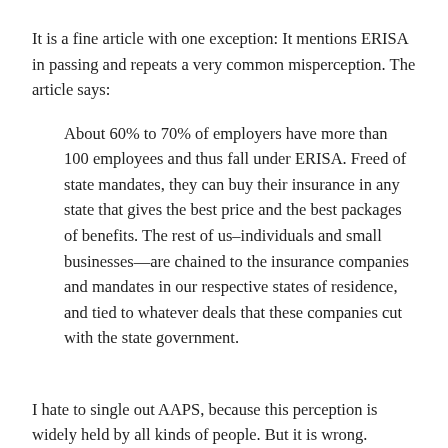It is a fine article with one exception: It mentions ERISA in passing and repeats a very common misperception. The article says:
About 60% to 70% of employers have more than 100 employees and thus fall under ERISA. Freed of state mandates, they can buy their insurance in any state that gives the best price and the best packages of benefits. The rest of us–individuals and small businesses—are chained to the insurance companies and mandates in our respective states of residence, and tied to whatever deals that these companies cut with the state government.
I hate to single out AAPS, because this perception is widely held by all kinds of people. But it is wrong.
The fact is that EVERY employer (not once per year, not once per